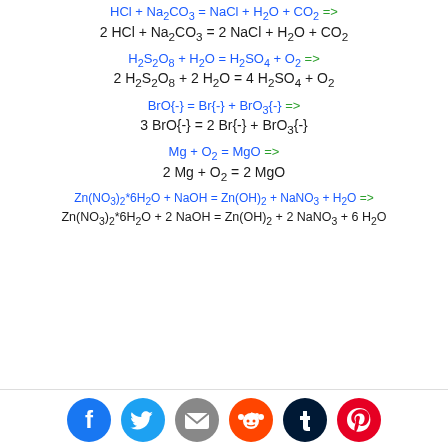[Figure (infographic): Social media sharing icons: Facebook (blue), Twitter (cyan), Email (gray), Reddit (orange), Tumblr (dark navy), Pinterest (red)]